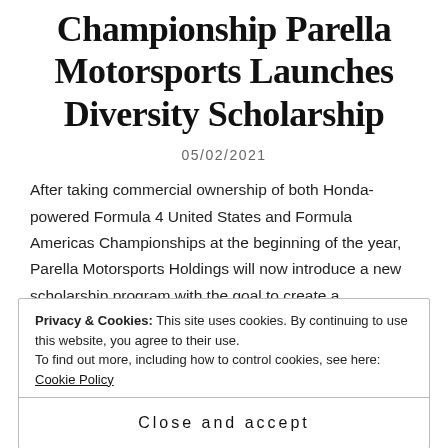Championship Parella Motorsports Launches Diversity Scholarship
05/02/2021
After taking commercial ownership of both Honda-powered Formula 4 United States and Formula Americas Championships at the beginning of the year, Parella Motorsports Holdings will now introduce a new scholarship program with the goal to create a
Privacy & Cookies: This site uses cookies. By continuing to use this website, you agree to their use. To find out more, including how to control cookies, see here: Cookie Policy
Close and accept
seater category. PMH has partnered with Sunoco Race